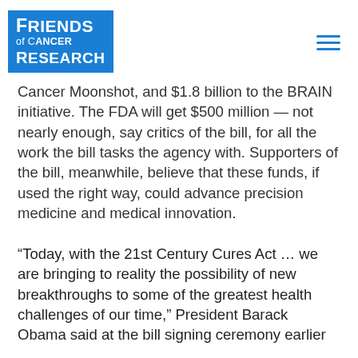[Figure (logo): Friends of Cancer Research blue square logo with white text]
Cancer Moonshot, and $1.8 billion to the BRAIN initiative. The FDA will get $500 million — not nearly enough, say critics of the bill, for all the work the bill tasks the agency with. Supporters of the bill, meanwhile, believe that these funds, if used the right way, could advance precision medicine and medical innovation.
“Today, with the 21st Century Cures Act … we are bringing to reality the possibility of new breakthroughs to some of the greatest health challenges of our time,” President Barack Obama said at the bill signing ceremony earlier